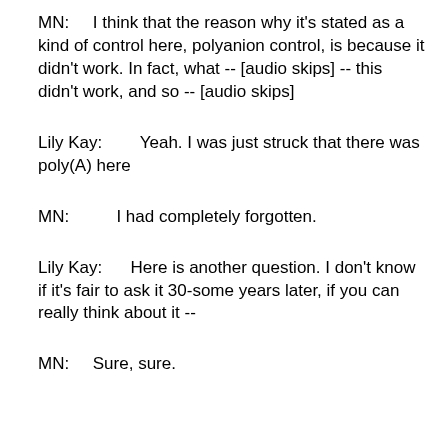MN:     I think that the reason why it's stated as a kind of control here, polyanion control, is because it didn't work. In fact, what -- [audio skips] -- this didn't work, and so -- [audio skips]
Lily Kay:        Yeah. I was just struck that there was poly(A) here
MN:          I had completely forgotten.
Lily Kay:       Here is another question. I don't know if it's fair to ask it 30-some years later, if you can really think about it --
MN:     Sure, sure.